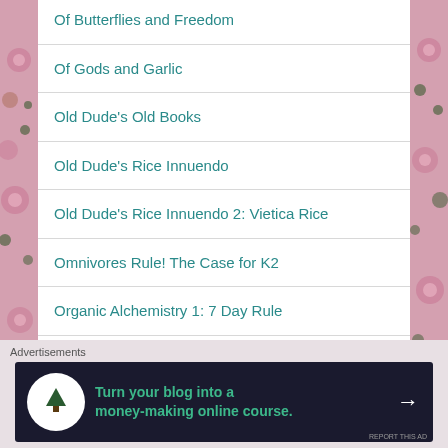Of Butterflies and Freedom
Of Gods and Garlic
Old Dude's Old Books
Old Dude's Rice Innuendo
Old Dude's Rice Innuendo 2: Vietica Rice
Omnivores Rule! The Case for K2
Organic Alchemistry 1: 7 Day Rule
Organic Alchemistry 2: Wave Genetics
Organic Alchemistry 3: Ancient DNA he...
Advertisements
[Figure (infographic): Advertisement banner: Turn your blog into a money-making online course. Dark background with tree logo icon and arrow.]